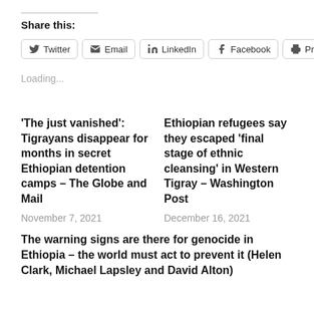Share this:
Twitter
Email
LinkedIn
Facebook
Print
Loading...
‘The just vanished’: Tigrayans disappear for months in secret Ethiopian detention camps – The Globe and Mail
November 7, 2021
Ethiopian refugees say they escaped ‘final stage of ethnic cleansing’ in Western Tigray – Washington Post
December 16, 2021
The warning signs are there for genocide in Ethiopia – the world must act to prevent it (Helen Clark, Michael Lapsley and David Alton)